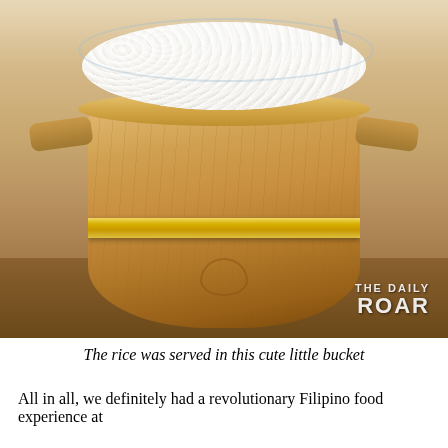[Figure (photo): A wooden bucket filled with white rice, with a glass bowl insert and golden metal band around the middle. The bucket sits on a wooden table surface. A watermark in the bottom right reads 'THE DAILY ROAR'.]
The rice was served in this cute little bucket
All in all, we definitely had a revolutionary Filipino food experience at